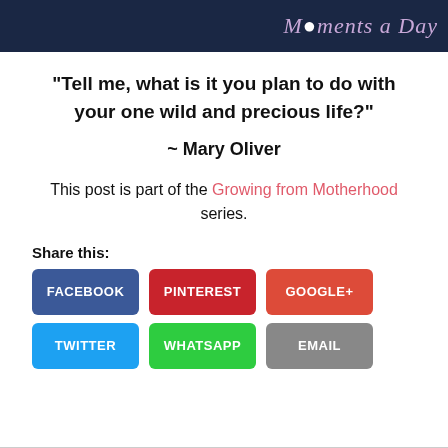[Figure (photo): Dark navy banner with stylized cursive text in pink/purple reading 'Moments a Day']
“Tell me, what is it you plan to do with your one wild and precious life?”
~ Mary Oliver
This post is part of the Growing from Motherhood series.
Share this:
FACEBOOK
PINTEREST
GOOGLE+
TWITTER
WHATSAPP
EMAIL